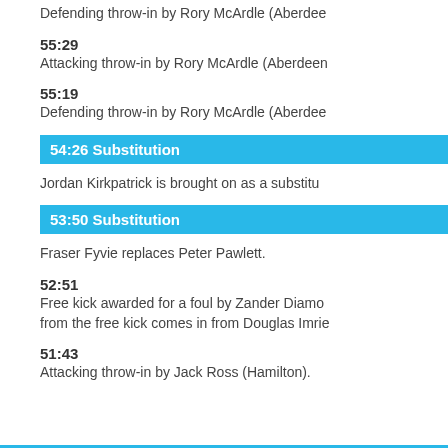Defending throw-in by Rory McArdle (Aberdee...
55:29
Attacking throw-in by Rory McArdle (Aberdeen...
55:19
Defending throw-in by Rory McArdle (Aberdee...
54:26 Substitution
Jordan Kirkpatrick is brought on as a substitu...
53:50 Substitution
Fraser Fyvie replaces Peter Pawlett.
52:51
Free kick awarded for a foul by Zander Diamo... from the free kick comes in from Douglas Imrie...
51:43
Attacking throw-in by Jack Ross (Hamilton).